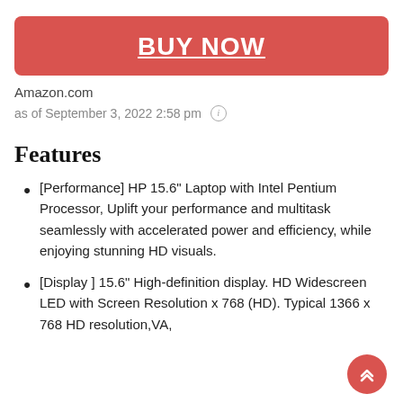BUY NOW
Amazon.com
as of September 3, 2022 2:58 pm ℹ
Features
[Performance] HP 15.6" Laptop with Intel Pentium Processor, Uplift your performance and multitask seamlessly with accelerated power and efficiency, while enjoying stunning HD visuals.
[Display ] 15.6" High-definition display. HD Widescreen LED with Screen Resolution 1366 x 768 (HD). Typical 1366 x 768 HD resolution, SVA, anti-glare micro-edge WLED backlit Brilliant…